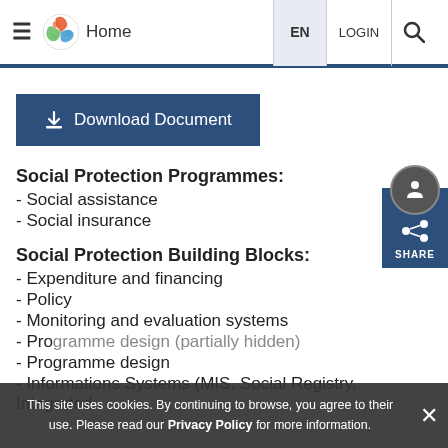Home EN LOGIN
Download Document
Social Protection Programmes:
- Social assistance
- Social insurance
Social Protection Building Blocks:
- Expenditure and financing
- Policy
- Monitoring and evaluation systems
- Programme design
- Informations Systems (MIS, Social Registry, Integrated
This site uses cookies. By continuing to browse, you agree to their use. Please read our Privacy Policy for more information.